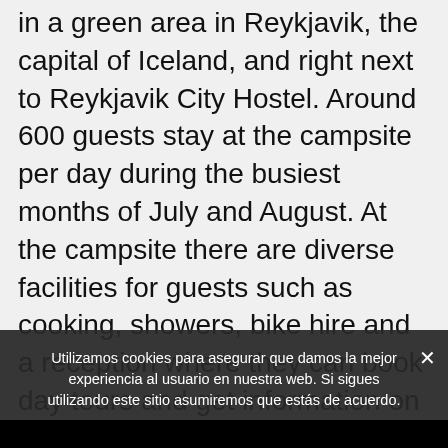in a green area in Reykjavik, the capital of Iceland, and right next to Reykjavik City Hostel. Around 600 guests stay at the campsite per day during the busiest months of July and August. At the campsite there are diverse facilities for guests such as cooking, showers, bike hire and a reception where they can book day tours and get information on travels in Iceland
As the Reykjavík Campsite is being managed by HI Iceland for over 16 years, it has benefited from all the sustainable practices developed at the hostels and therefore in 2013 the campsite was successfully awarded
Utilizamos cookies para asegurar que damos la mejor experiencia al usuario en nuestra web. Si sigues utilizando este sitio asumiremos que estás de acuerdo.
Vale